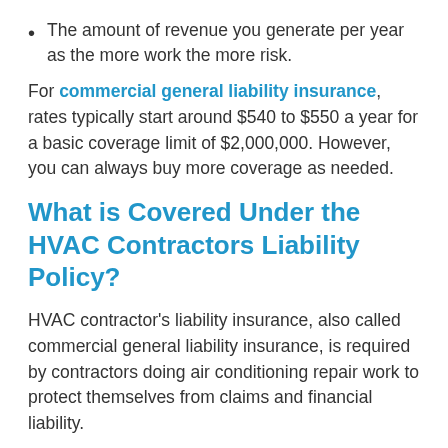The amount of revenue you generate per year as the more work the more risk.
For commercial general liability insurance, rates typically start around $540 to $550 a year for a basic coverage limit of $2,000,000. However, you can always buy more coverage as needed.
What is Covered Under the HVAC Contractors Liability Policy?
HVAC contractor's liability insurance, also called commercial general liability insurance, is required by contractors doing air conditioning repair work to protect themselves from claims and financial liability.
Regardless if you are doing work inside a residential